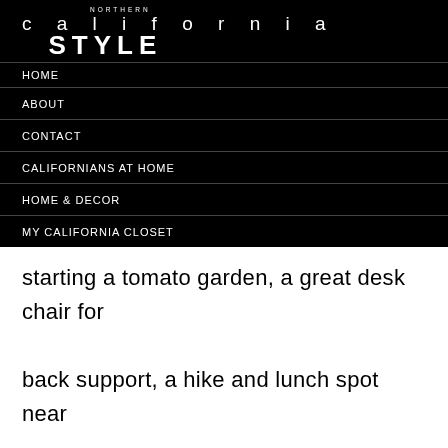NORTHERN california STYLE
HOME
ABOUT
CONTACT
CALIFORNIANS AT HOME
HOME & DECOR
MY CALIFORNIA CLOSET
starting a tomato garden, a great desk chair for back support, a hike and lunch spot near Stanford University, an inspiring front house makeover and a great white jean. You can catch